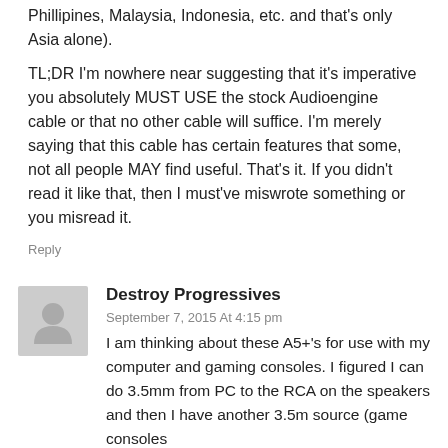Phillipines, Malaysia, Indonesia, etc. and that's only Asia alone).
TL;DR I'm nowhere near suggesting that it's imperative you absolutely MUST USE the stock Audioengine cable or that no other cable will suffice. I'm merely saying that this cable has certain features that some, not all people MAY find useful. That's it. If you didn't read it like that, then I must've miswrote something or you misread it.
Reply
Destroy Progressives
September 7, 2015 At 4:15 pm
I am thinking about these A5+'s for use with my computer and gaming consoles. I figured I can do 3.5mm from PC to the RCA on the speakers and then I have another 3.5m source (game consoles